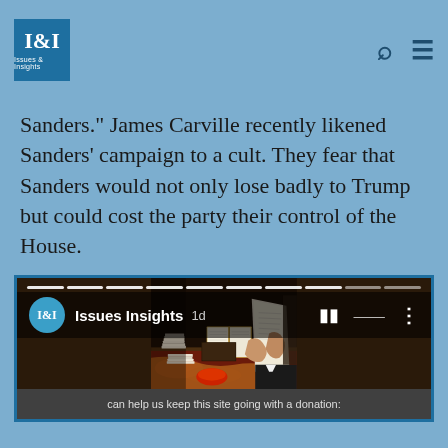I&I Issues & Insights
Sanders." James Carville recently likened Sanders' campaign to a cult. They fear that Sanders would not only lose badly to Trump but could cost the party their control of the House.
[Figure (screenshot): A social media story card showing Issues Insights channel with a classical painting of a man reading documents surrounded by stacks of papers and books, with a progress bar at top and channel name overlay.]
can help us keep this site going with a donation: